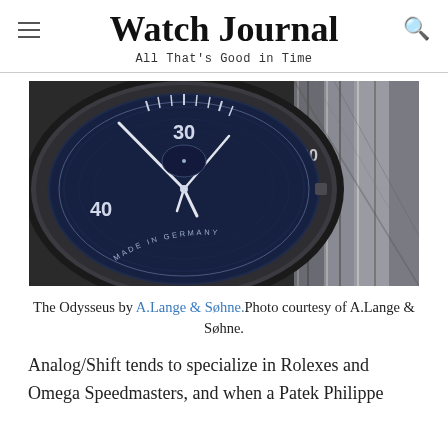Watch Journal — All That's Good in Time
[Figure (photo): Close-up macro photo of the A.Lange & Söhne Odysseus watch showing the blue dial with 30 and 40 minute markers, silver hands, 'MADE IN GERMANY' text around the dial edge, and the brushed steel case/bracelet in the background.]
The Odysseus by A.Lange & Søhne.Photo courtesy of A.Lange & Søhne.
Analog/Shift tends to specialize in Rolexes and Omega Speedmasters, and when a Patek Philippe